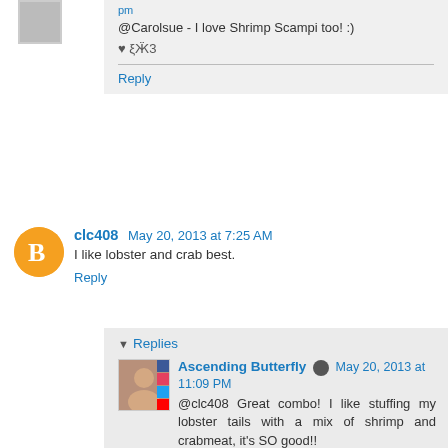@Carolsue - I love Shrimp Scampi too! :)
♥ ξӜ3
Reply
clc408  May 20, 2013 at 7:25 AM
I like lobster and crab best.
Reply
Replies
Ascending Butterfly  May 20, 2013 at 11:09 PM
@clc408 Great combo! I like stuffing my lobster tails with a mix of shrimp and crabmeat, it's SO good!!
♥ ξӜ3